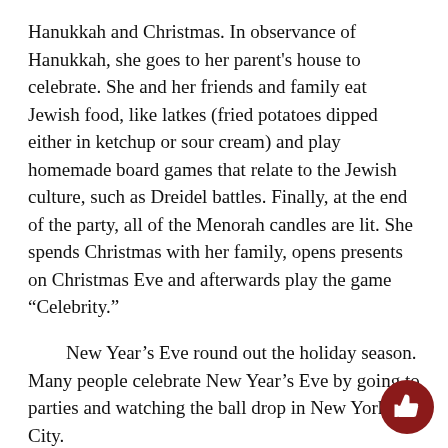Hanukkah and Christmas. In observance of Hanukkah, she goes to her parent's house to celebrate. She and her friends and family eat Jewish food, like latkes (fried potatoes dipped either in ketchup or sour cream) and play homemade board games that relate to the Jewish culture, such as Dreidel battles. Finally, at the end of the party, all of the Menorah candles are lit. She spends Christmas with her family, opens presents on Christmas Eve and afterwards play the game “Celebrity.”
New Year’s Eve round out the holiday season. Many people celebrate New Year’s Eve by going to parties and watching the ball drop in New York City.
“I stay up to watch the ball drop with my family and friends, then go to bed afterwards,” says math teacher Mr. Gill.